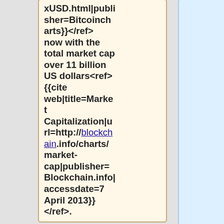xUSD.html|publisher=Bitcoincharts}}</ref> now with the total market cap over 11 billion US dollars<ref>{{cite web|title=Market Capitalization|url=http://blockchain.info/charts/market-cap|publisher=Blockchain.info|accessdate=7 April 2013}}</ref>.
Bitcoin has no central issuer: